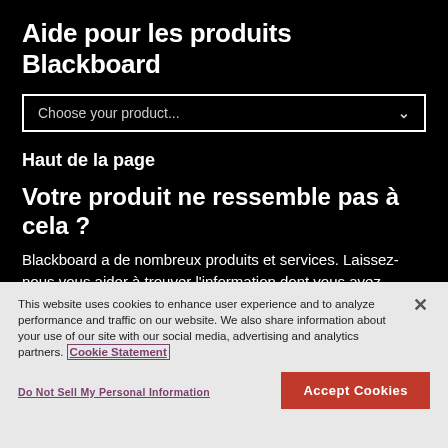Aide pour les produits Blackboard
[Figure (other): Dropdown selector with label 'Choose your product...' and a chevron arrow on the right, styled with white border on black background]
Haut de la page
Votre produit ne ressemble pas à cela ?
Blackboard a de nombreux produits et services. Laissez-nous vous aider à trouver l'information dont vous avez besoin.
This website uses cookies to enhance user experience and to analyze performance and traffic on our website. We also share information about your use of our site with our social media, advertising and analytics partners. Cookie Statement
Do Not Sell My Personal Information
Accept Cookies